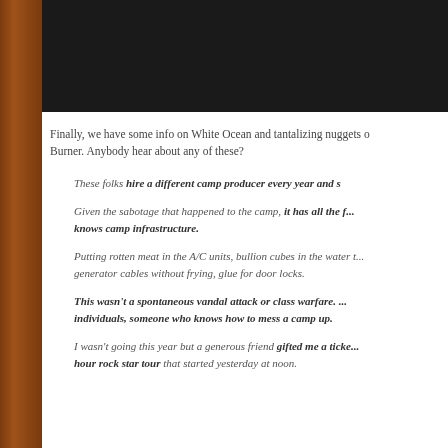[Figure (photo): Dark/black image area at the top of the page]
Finally, we have some info on White Ocean and tantalizing nuggets o... Burner. Anybody hear about any of these?
These folks hire a different camp producer every year and s...
Given the sabotage that happened to the camp, it has all the f... knows camp infrastructure.
Putting rotten meat in the A/C units, bullion cubes in the water t... generator cables without frying, glue for door locks.
This wasn't a spontaneous vandal attack or class warfare. ... individuals, someone who knows how to mess a camp up.
I wasn't going this year but a generous friend gifted me a ticke... hour rock star tour that started yesterday at noon.